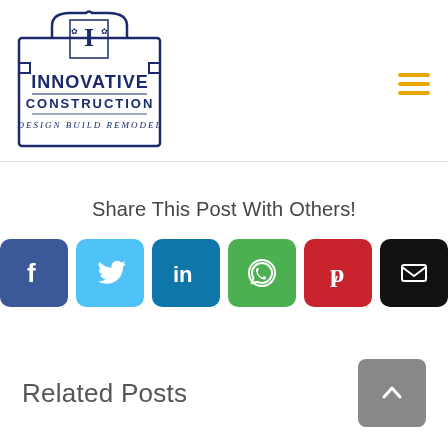[Figure (logo): Innovative Construction - Design Build Remodel logo with decorative border and letter I]
[Figure (infographic): Hamburger menu icon with three horizontal gold/yellow lines]
Share This Post With Others!
[Figure (infographic): Social share buttons: Facebook, Twitter, LinkedIn, WhatsApp, Pinterest, Email]
Related Posts